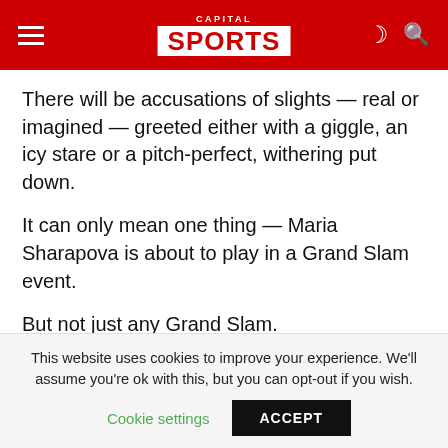CAPITAL SPORTS
There will be accusations of slights — real or imagined — greeted either with a giggle, an icy stare or a pitch-perfect, withering put down.
It can only mean one thing — Maria Sharapova is about to play in a Grand Slam event.
But not just any Grand Slam.
This is the French Open where she has won two of her five career majors but where, 12 months ago, Roland Garros chiefs took to the moral high ground
This website uses cookies to improve your experience. We'll assume you're ok with this, but you can opt-out if you wish.
Cookie settings   ACCEPT